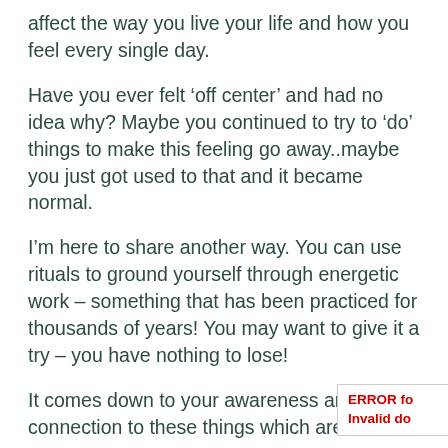affect the way you live your life and how you feel every single day.
Have you ever felt ‘off center’ and had no idea why? Maybe you continued to try to ‘do’ things to make this feeling go away..maybe you just got used to that and it became normal.
I’m here to share another way. You can use rituals to ground yourself through energetic work – something that has been practiced for thousands of years! You may want to give it a try – you have nothing to lose!
It comes down to your awareness and connection to these things which are not